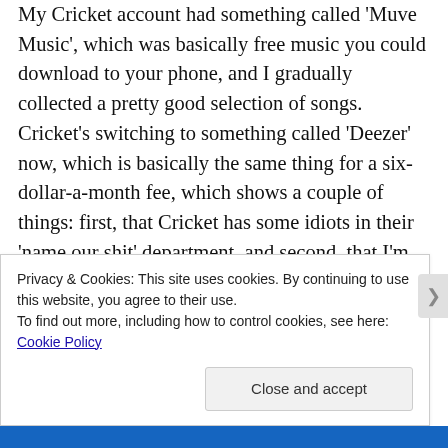My Cricket account had something called 'Muve Music', which was basically free music you could download to your phone, and I gradually collected a pretty good selection of songs. Cricket's switching to something called 'Deezer' now, which is basically the same thing for a six-dollar-a-month fee, which shows a couple of things: first, that Cricket has some idiots in their 'name our shit' department, and second, that I'm one of those consumers that will pay for stuff I previously got for free, so long as I got a taste for it. Cocaine dealers have used the same business model with some success for quite some time.
Privacy & Cookies: This site uses cookies. By continuing to use this website, you agree to their use.
To find out more, including how to control cookies, see here: Cookie Policy
Close and accept